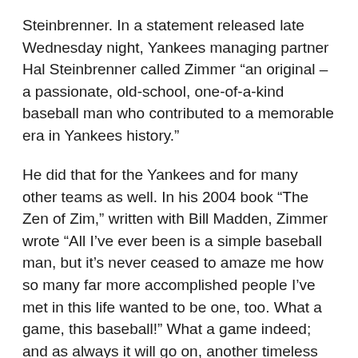Steinbrenner. In a statement released late Wednesday night, Yankees managing partner Hal Steinbrenner called Zimmer “an original – a passionate, old-school, one-of-a-kind baseball man who contributed to a memorable era in Yankees history.”
He did that for the Yankees and for many other teams as well. In his 2004 book “The Zen of Zim,” written with Bill Madden, Zimmer wrote “All I’ve ever been is a simple baseball man, but it’s never ceased to amaze me how so many far more accomplished people I’ve met in this life wanted to be one, too. What a game, this baseball!” What a game indeed; and as always it will go on, another timeless season unfolding as summer steadily warms. But now it must do so without Zim, and because of that today the Great Game is a little less so.